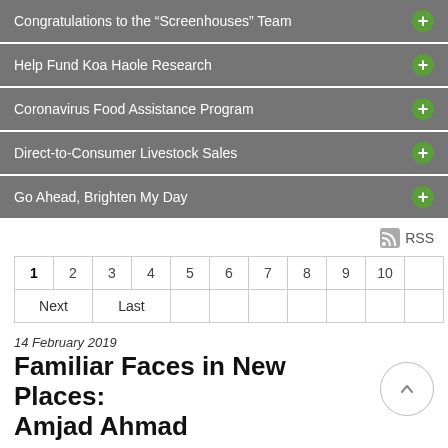Congratulations to the “Screenhouses” Team
Help Fund Koa Haole Research
Coronavirus Food Assistance Program
Direct-to-Consumer Livestock Sales
Go Ahead, Brighten My Day
RSS
| 1 | 2 | 3 | 4 | 5 | 6 | 7 | 8 | 9 | 10 |  |
| Next | Last |  |  |  |  |  |  |  |  |  |
14 February 2019
Familiar Faces in New Places: Amjad Ahmad
[Figure (photo): Partial photo of Amjad Ahmad outdoors with greenery visible]